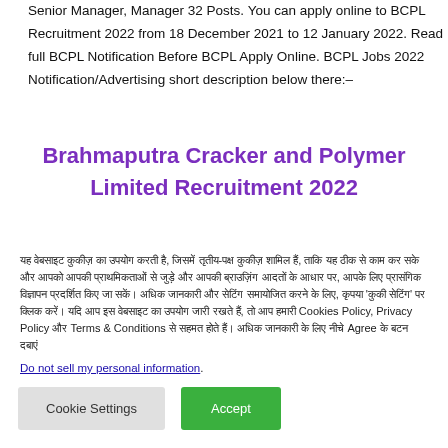Senior Manager, Manager 32 Posts. You can apply online to BCPL Recruitment 2022 from 18 December 2021 to 12 January 2022. Read full BCPL Notification Before BCPL Apply Online. BCPL Jobs 2022 Notification/Advertising short description below there:–
Brahmaputra Cracker and Polymer Limited Recruitment 2022
यह वेबसाइट कुकीज़ का उपयोग करती है, जिसमें तृतीय-पक्ष कुकीज़ शामिल हैं, ताकि यह ठीक से काम कर सके और आपको आपकी प्राथमिकताओं से जुड़े और आपकी ब्राउज़िंग आदतों के आधार पर, आपके लिए प्रासंगिक विज्ञापन प्रदर्शित किए जा सकें। अधिक जानकारी और सेटिंग समायोजित करने के लिए, कृपया 'कुकी सेटिंग' पर क्लिक करें। यदि आप इस वेबसाइट का उपयोग जारी रखते हैं, तो आप हमारी Cookies Policy, Privacy Policy और Terms & Conditions से सहमत होते हैं। अधिक जानकारी के लिए नीचे Agree के बटन दबाएं
Do not sell my personal information.
Cookie Settings
Accept